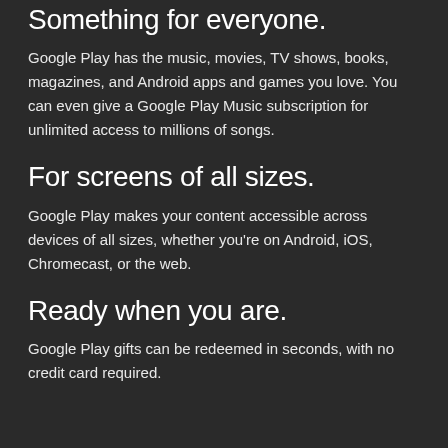Something for everyone.
Google Play has the music, movies, TV shows, books, magazines, and Android apps and games you love. You can even give a Google Play Music subscription for unlimited access to millions of songs.
For screens of all sizes.
Google Play makes your content accessible across devices of all sizes, whether you’re on Android, iOS, Chromecast, or the web.
Ready when you are.
Google Play gifts can be redeemed in seconds, with no credit card required.